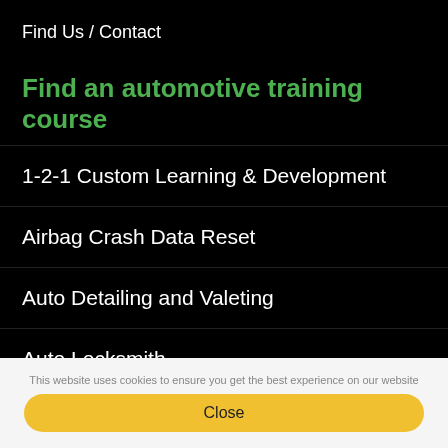Find Us / Contact
Find an automotive training course
1-2-1 Custom Learning & Development
Airbag Crash Data Reset
Auto Detailing and Valeting
Auto Locksmith
Automotive Air-Conditioning
This website uses cookies to ensure you get the best experience on our website
Close